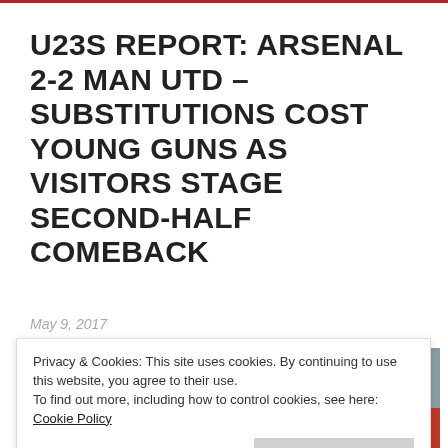U23S REPORT: ARSENAL 2-2 MAN UTD – SUBSTITUTIONS COST YOUNG GUNS AS VISITORS STAGE SECOND-HALF COMEBACK
May 9, 2017
[Figure (photo): Crowd of football fans in stadium stands with red seats visible]
Privacy & Cookies: This site uses cookies. By continuing to use this website, you agree to their use.
To find out more, including how to control cookies, see here: Cookie Policy